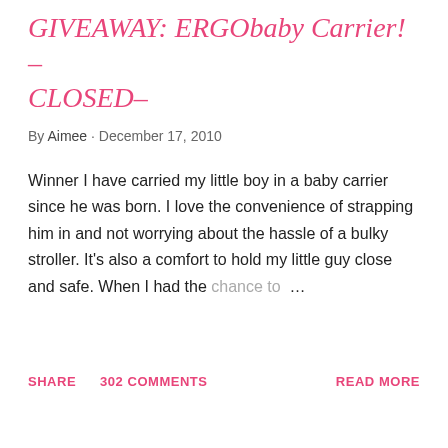GIVEAWAY: ERGObaby Carrier! –CLOSED–
By Aimee · December 17, 2010
Winner I have carried my little boy in a baby carrier since he was born. I love the convenience of strapping him in and not worrying about the hassle of a bulky stroller. It's also a comfort to hold my little guy close and safe. When I had the chance to …
SHARE   302 COMMENTS   READ MORE
[Figure (logo): Partial blue cursive/script logo text reading 'tores' (or similar), cropped at bottom of page]